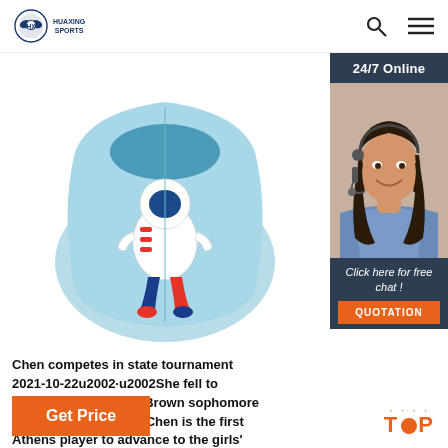HUAXING SPORTS
[Figure (photo): Light blue neoprene shoe/slipper with astronaut graphic design, viewed from above]
[Figure (photo): 24/7 Online customer service agent - woman with headset smiling, with 'Click here for free chat!' text and QUOTATION button]
Chen competes in state tournament 2021-10-22u2002·u2002She fell to Shaker Heights Hathaway Brown sophomore Summer Mu, 6-4, 6-0. Chen is the first Athens player to advance to the girls' state tennis tournament in singles competition.
Get Price
TOP